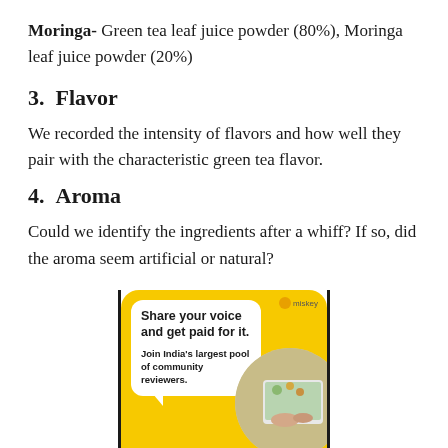Moringa- Green tea leaf juice powder (80%), Moringa leaf juice powder (20%)
3.  Flavor
We recorded the intensity of flavors and how well they pair with the characteristic green tea flavor.
4.  Aroma
Could we identify the ingredients after a whiff? If so, did the aroma seem artificial or natural?
[Figure (infographic): Advertisement banner with yellow background and speech bubble. Text reads: 'Share your voice and get paid for it. Join India's largest pool of community reviewers.' with a miskey logo and an image of a tablet with food.]